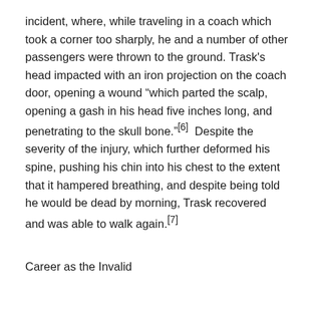incident, where, while traveling in a coach which took a corner too sharply, he and a number of other passengers were thrown to the ground. Trask's head impacted with an iron projection on the coach door, opening a wound "which parted the scalp, opening a gash in his head five inches long, and penetrating to the skull bone."[6]  Despite the severity of the injury, which further deformed his spine, pushing his chin into his chest to the extent that it hampered breathing, and despite being told he would be dead by morning, Trask recovered and was able to walk again.[7]
Career as the Invalid